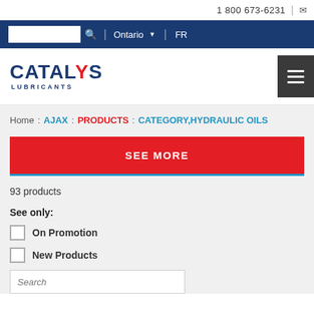1 800 673-6231
[Figure (screenshot): Navigation bar with search input, Ontario location selector, and FR language toggle on dark blue background]
[Figure (logo): Catalys Lubricants logo with dark blue text and red S letter, alongside hamburger menu button]
Home : AJAX : PRODUCTS : CATEGORY,HYDRAULIC OILS
SEE MORE
93 products
See only:
On Promotion
New Products
Search